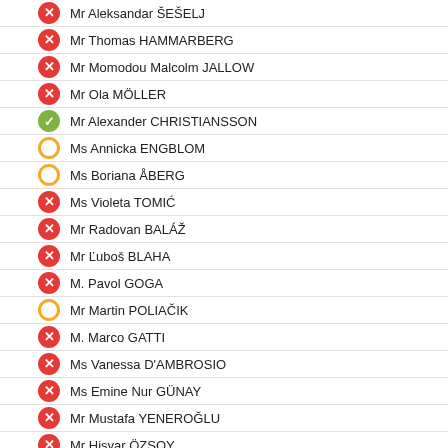Mr Aleksandar ŠEŠELJ
Mr Thomas HAMMARBERG
Mr Momodou Malcolm JALLOW
Mr Ola MÖLLER
Mr Alexander CHRISTIANSSON
Ms Annicka ENGBLOM
Ms Boriana ÅBERG
Ms Violeta TOMIĆ
Mr Radovan BALÁŽ
Mr Ľuboš BLAHA
M. Pavol GOGA
Mr Martin POLIAČIK
M. Marco GATTI
Ms Vanessa D'AMBROSIO
Ms Emine Nur GÜNAY
Mr Mustafa YENEROĞLU
Mr Hişyar ÖZSOY